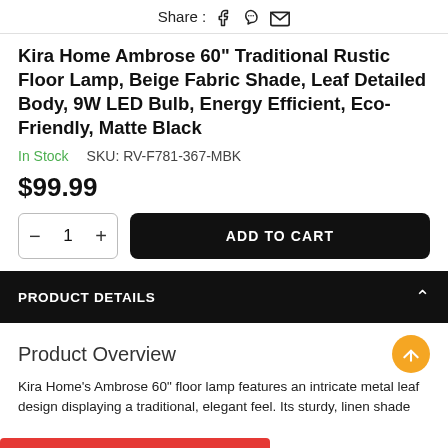Share:
Kira Home Ambrose 60" Traditional Rustic Floor Lamp, Beige Fabric Shade, Leaf Detailed Body, 9W LED Bulb, Energy Efficient, Eco-Friendly, Matte Black
In Stock   SKU: RV-F781-367-MBK
$99.99
– 1 +   ADD TO CART
PRODUCT DETAILS
Product Overview
Kira Home's Ambrose 60" floor lamp features an intricate metal leaf design displaying a traditional, elegant feel. Its sturdy, linen shade